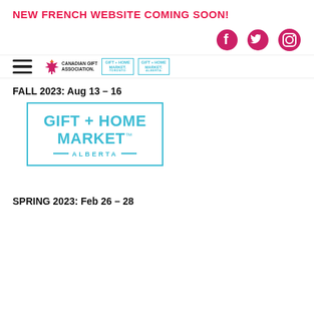NEW FRENCH WEBSITE COMING SOON!
[Figure (logo): Social media icons: Facebook, Twitter, Instagram in pink/magenta]
[Figure (logo): Navigation bar with hamburger menu, Canadian Gift Association logo, Gift + Home Market Toronto logo, Gift + Home Market Alberta logo]
FALL 2023: Aug 13 - 16
[Figure (logo): Gift + Home Market Alberta logo in teal/cyan with rectangular border]
SPRING 2023: Feb 26 - 28